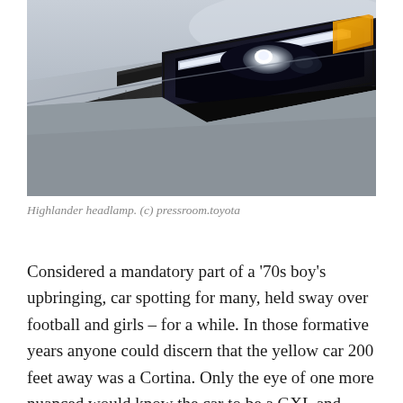[Figure (photo): Close-up photograph of a Toyota Highlander headlamp, showing a sleek angular LED headlight assembly on a silver/grey vehicle, with amber turn signal visible. Photo credited to pressroom.toyota.]
Highlander headlamp. (c) pressroom.toyota
Considered a mandatory part of a '70s boy's upbringing, car spotting for many, held sway over football and girls – for a while. In those formative years anyone could discern that the yellow car 200 feet away was a Cortina. Only the eye of one more nuanced would know the car to be a GXL and therefore worthy of knowledgeable discourse. Replete with such incendiary information, one